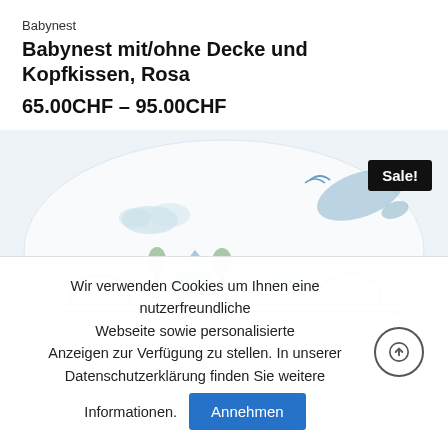Babynest
Babynest mit/ohne Decke und Kopfkissen, Rosa
65.00CHF – 95.00CHF
[Figure (photo): Close-up photo of a babynest fabric with blue illustrated pattern of houses, trains, whales, trees and clouds on white background. A black 'Sale!' badge is visible in the top-right area.]
Wir verwenden Cookies um Ihnen eine nutzerfreundliche Webseite sowie personalisierte Anzeigen zur Verfügung zu stellen. In unserer Datenschutzerklärung finden Sie weitere Informationen.
Annehmen